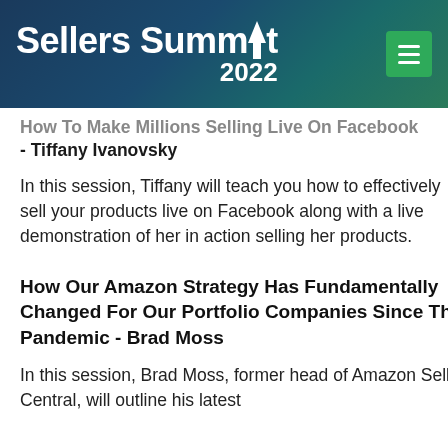Sellers Summit 2022
How To Make Millions Selling Live On Facebook - Tiffany Ivanovsky
In this session, Tiffany will teach you how to effectively sell your products live on Facebook along with a live demonstration of her in action selling her products.
How Our Amazon Strategy Has Fundamentally Changed For Our Portfolio Companies Since The Pandemic - Brad Moss
In this session, Brad Moss, former head of Amazon Seller Central, will outline his latest